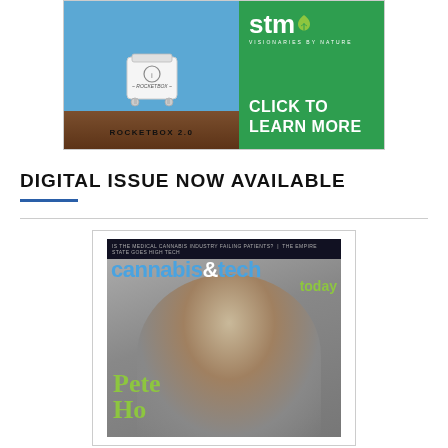[Figure (advertisement): STM Rocketbox 2.0 advertisement. Left side shows blue background with white Rocketbox machine on wooden floor. Right side is green with STM logo 'stm' with leaf icon, tagline 'VISIONARIES BY NATURE', and text 'CLICK TO LEARN MORE'.]
DIGITAL ISSUE NOW AVAILABLE
[Figure (photo): Magazine cover of 'cannabis&tech today' showing a man (Pete) smiling on a grey background. Top bar reads 'IS THE MEDICAL CANNABIS INDUSTRY FAILING PATIENTS? | THE EMPIRE STATE GOES HIGH TECH'. Title in blue and green reads 'cannabis&tech today'. Pete's name appears in green at the bottom.]